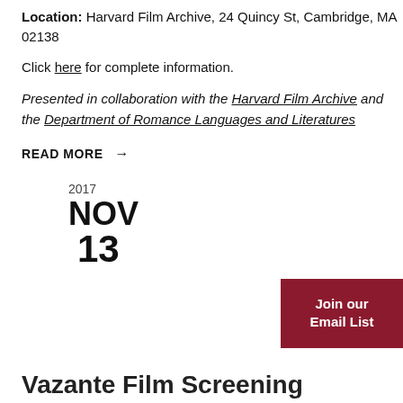Location: Harvard Film Archive, 24 Quincy St, Cambridge, MA 02138
Click here for complete information.
Presented in collaboration with the Harvard Film Archive and the Department of Romance Languages and Literatures
READ MORE →
2017
NOV
13
Join our Email List
Vazante Film Screening